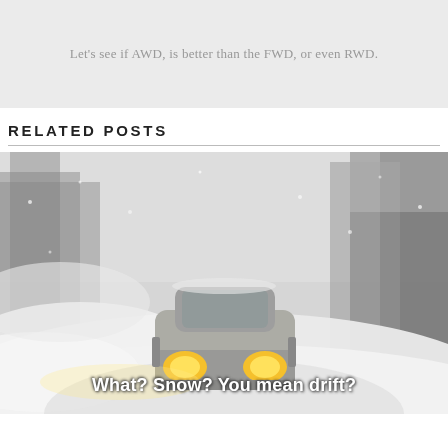Let's see if AWD, is better than the FWD, or even RWD.
RELATED POSTS
[Figure (photo): A car with yellow headlights driving on a snowy forest road in winter, with snow flying around it. Text overlay reads: What? Snow? You mean drift?]